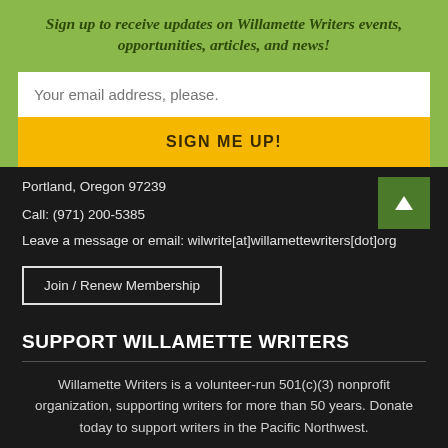Sign up to receive updates on Willamette Writers events, opportunities, articles, and news!
Your email address, please.
SIGN ME UP!
Portland, Oregon 97239
Call: (971) 200-5385
Leave a message or email: wilwrite[at]willamettewriters[dot]org
Join / Renew Membership
SUPPORT WILLAMETTE WRITERS
Willamette Writers is a volunteer-run 501(c)(3) nonprofit organization, supporting writers for more than 50 years. Donate today to support writers in the Pacific Northwest.